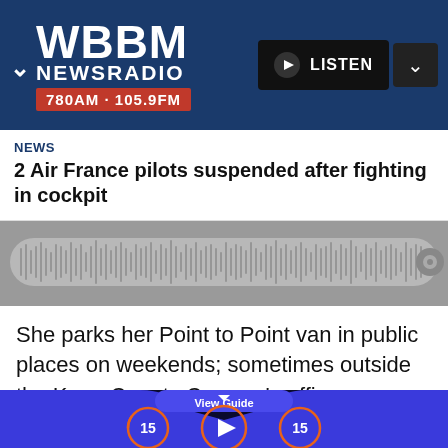[Figure (logo): WBBM Newsradio 780AM · 105.9FM logo on dark blue background with LISTEN button]
NEWS
2 Air France pilots suspended after fighting in cockpit
[Figure (other): Audio waveform scrubber bar in gray]
She parks her Point to Point van in public places on weekends; sometimes outside the Kane County Coroner's office, sometime outside a health clinic in Aurora.
[Figure (other): Bottom navigation bar with View Guide tab and audio playback controls: skip back 15, play, skip forward 15]